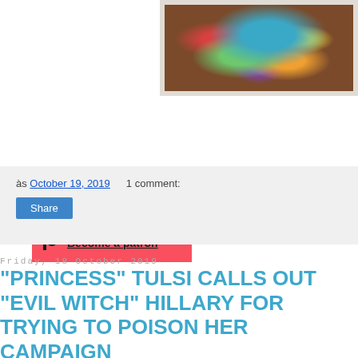[Figure (illustration): Colorful folk art style illustration of a creature on a dark brown background with decorative patterns, shown in a framed/bordered format]
[Figure (other): Red Patreon banner with circular icon and 'Become a patron' link text]
às October 19, 2019    1 comment:
Share
Friday, 18 October 2019
"PRINCESS" TULSI CALLS OUT "EVIL WITCH" HILLARY FOR TRYING TO POISON HER CAMPAIGN
[Figure (photo): Partial photo at bottom of page, dark toned image]